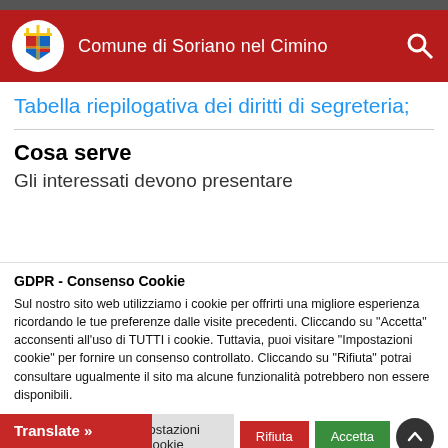Comune di Soriano nel Cimino
Tabella riepilogativa dei diritti di segreteria;
Cosa serve
Gli interessati devono presentare
GDPR - Consenso Cookie
Sul nostro sito web utilizziamo i cookie per offrirti una migliore esperienza ricordando le tue preferenze dalle visite precedenti. Cliccando su "Accetta" acconsenti all'uso di TUTTI i cookie. Tuttavia, puoi visitare "Impostazioni cookie" per fornire un consenso controllato. Cliccando su "Rifiuta" potrai consultare ugualmente il sito ma alcune funzionalità potrebbero non essere disponibili.
Cookie Policy | Impostazioni Cookie | Rifiuta | Accetta
Translate »